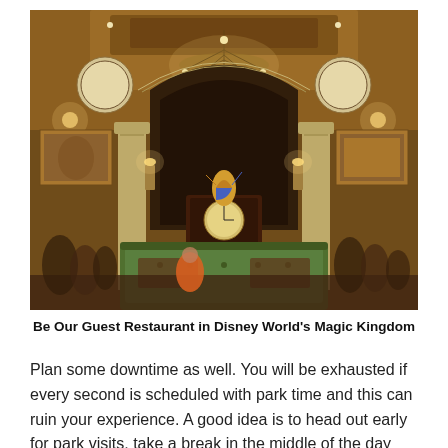[Figure (photo): Interior of Be Our Guest Restaurant in Disney World's Magic Kingdom. The dining room features ornate arched ceilings, a grand chandelier, decorative columns, paintings on the walls, a central decorative clock with a Beauty and the Beast figurine on top, and green booth seating with guests dining.]
Be Our Guest Restaurant in Disney World's Magic Kingdom
Plan some downtime as well. You will be exhausted if every second is scheduled with park time and this can ruin your experience. A good idea is to head out early for park visits, take a break in the middle of the day and go